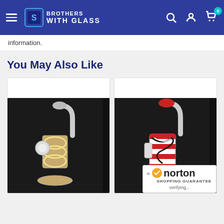Brothers with Glass - navigation header with hamburger menu, logo, search, account, and cart icons
information.
You May Also Like
[Figure (photo): Glass water pipe/bong with amber/cream colored swirl design on dark background]
[Figure (photo): Glass water pipe/bong with red and white striped swirl design on dark background]
[Figure (other): Norton Shopping Guarantee badge with verifying status]